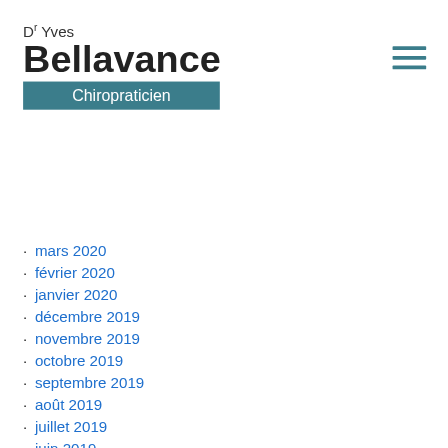[Figure (logo): Dr Yves Bellavance Chiropraticien logo with teal banner]
[Figure (other): Hamburger menu icon with three teal horizontal bars]
mars 2020
février 2020
janvier 2020
décembre 2019
novembre 2019
octobre 2019
septembre 2019
août 2019
juillet 2019
juin 2019
mai 2019
avril 2019
Catégories
! Без рубрики (1)
10 best dating sites (1)